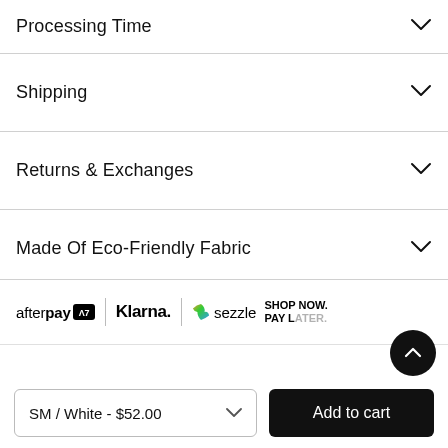Processing Time
Shipping
Returns & Exchanges
Made Of Eco-Friendly Fabric
[Figure (logo): Payment method logos: afterpay, Klarna, Sezzle, Shop Now Pay Later]
SM / White - $52.00
Add to cart